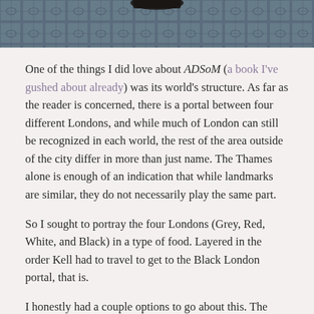[Figure (photo): Top portion of a photo showing a blue patterned fabric or tile surface with a dark object partially visible at top center]
One of the things I did love about ADSoM (a book I've gushed about already) was its world's structure. As far as the reader is concerned, there is a portal between four different Londons, and while much of London can still be recognized in each world, the rest of the area outside of the city differ in more than just name. The Thames alone is enough of an indication that while landmarks are similar, they do not necessarily play the same part.
So I sought to portray the four Londons (Grey, Red, White, and Black) in a type of food. Layered in the order Kell had to travel to get to the Black London portal, that is.
I honestly had a couple options to go about this. The parfait was the first that came to mind, the second being a layer of jello. I also thought about cookies and piping chocolate, but I'd need a more precise hand at mimicking the book covers' depictions of the Londons. The jello would